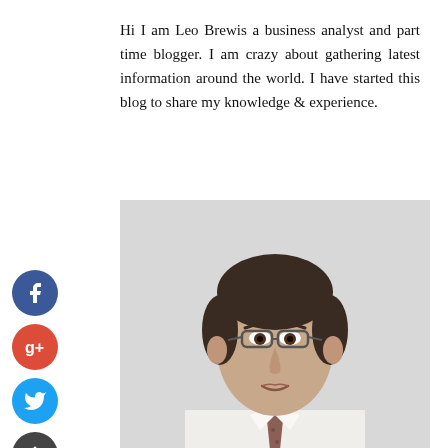Hi I am Leo Brewis a business analyst and part time blogger. I am crazy about gathering latest information around the world. I have started this blog to share my knowledge & experience.
[Figure (photo): Professional headshot of a man wearing glasses, white shirt, and a patterned tie, against a light grey background.]